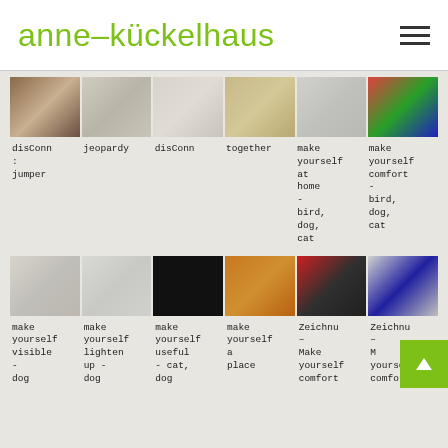anne-kückelhaus
[Figure (photo): Row of 6 thumbnail photos showing various scenes including interior, studio, fabric/textile, animal fur, minimal scene, and colorful shoes/plants]
disConn : jumper
jeopardy
disConn
together
make yourself at home - bird, dog, cat
make yourself comfort - bird, dog, cat
[Figure (photo): Row of 6 thumbnail photos showing various scenes including wall/yellow, glass/yellow, black cat, orange/wicker, red box/black cabinet, white/blue robot figure]
make yourself visible - dog
make yourself lighten up - dog
make yourself useful - cat, dog
make yourself a place
Zeichnu – Make yourself comfort
Zeichnu – M yourself comfort